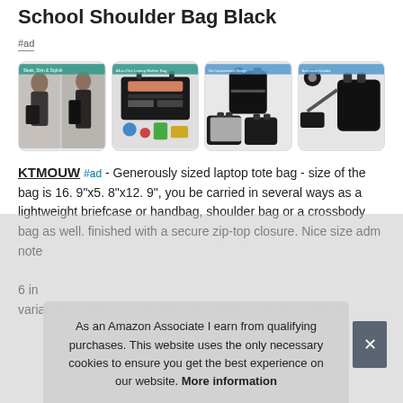School Shoulder Bag Black
#ad
[Figure (photo): Four product thumbnail images of a black laptop shoulder bag showing different angles and features.]
KTMOUW #ad - Generously sized laptop tote bag - size of the bag is 16. 9"x5. 8"x12. 9", you be carried in several ways as a lightweight briefcase or handbag, shoulder bag or a crossbody bag as well. finished with a secure zip-top closure. Nice size adm note 6 in variations in the sizes of different models, and Chromebook
As an Amazon Associate I earn from qualifying purchases. This website uses the only necessary cookies to ensure you get the best experience on our website. More information